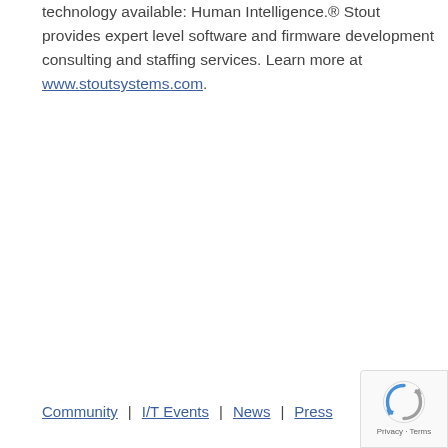technology available: Human Intelligence.® Stout provides expert level software and firmware development consulting and staffing services. Learn more at www.stoutsystems.com.
Community | I/T Events | News | Press